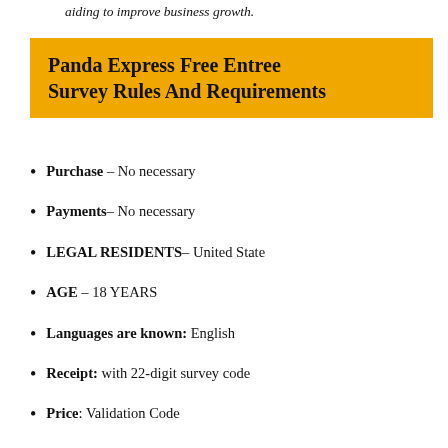aiding to improve business growth.
Panda Express Free Entree Survey Rules And Requirements
Purchase – No necessary
Payments– No necessary
LEGAL RESIDENTS– United State
AGE – 18 YEARS
Languages are known: English
Receipt: with 22-digit survey code
Price: Validation Code